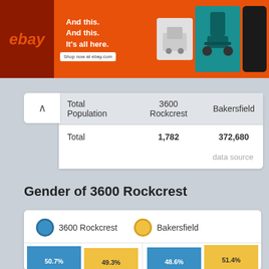[Figure (photo): eBay advertisement banner with orange background, eBay logo, text 'And this. And this. It's all here.' with shop now button, and product images of robot and drill]
| Total Population | 3600 Rockcrest | Bakersfield |
| --- | --- | --- |
| Total | 1,782 | 372,680 |
data source
Gender of 3600 Rockcrest
[Figure (bar-chart): Gender of 3600 Rockcrest]